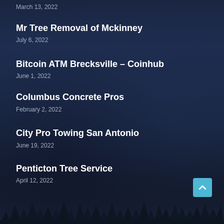March 13, 2022
Mr Tree Removal of Mckinney
July 6, 2022
Bitcoin ATM Brecksville – Coinhub
June 1, 2022
Columbus Concrete Pros
February 2, 2022
City Pro Towing San Antonio
June 19, 2022
Penticton Tree Service
April 12, 2022